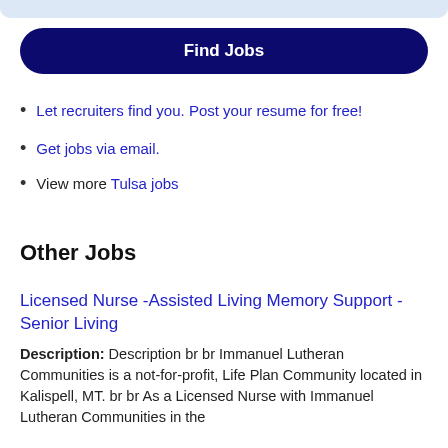[Figure (other): Light blue top bar / header strip at top of page]
Find Jobs
Let recruiters find you. Post your resume for free!
Get jobs via email.
View more Tulsa jobs
Other Jobs
Licensed Nurse -Assisted Living Memory Support - Senior Living
Description: Description br br Immanuel Lutheran Communities is a not-for-profit, Life Plan Community located in Kalispell, MT. br br As a Licensed Nurse with Immanuel Lutheran Communities in the